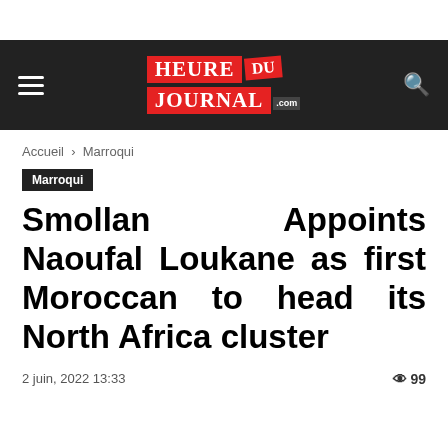HEURE DU JOURNAL .com
Accueil › Marroqui
Marroqui
Smollan Appoints Naoufal Loukane as first Moroccan to head its North Africa cluster
2 juin, 2022 13:33   👁 99